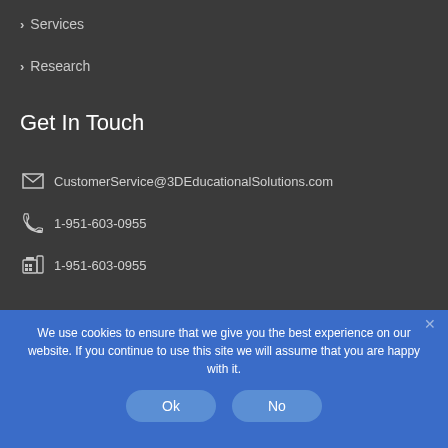> Services
> Research
Get In Touch
CustomerService@3DEducationalSolutions.com
1-951-603-0955
1-951-603-0955
We use cookies to ensure that we give you the best experience on our website. If you continue to use this site we will assume that you are happy with it.